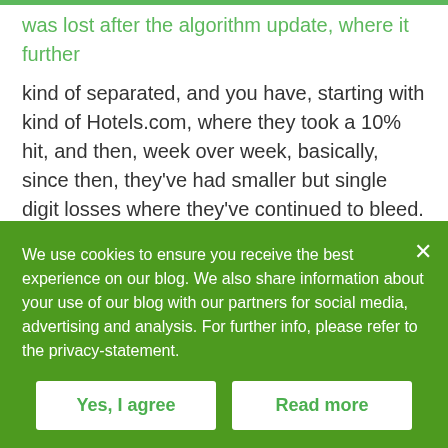was lost after the algorithm update, where it further kind of separated, and you have, starting with kind of Hotels.com, where they took a 10% hit, and then, week over week, basically, since then, they've had smaller but single digit losses where they've continued to bleed.
Tyson: Then you look at Booking. That took basically the exact same percent hit, but it remained kind of like flat and stable since. And then, finally, you have Kayak who, although they have a little bit more of a head start before the algorithm update, they took a 5% hit but
We use cookies to ensure you receive the best experience on our blog. We also share information about your use of our blog with our partners for social media, advertising and analysis. For further info, please refer to the privacy-statement.